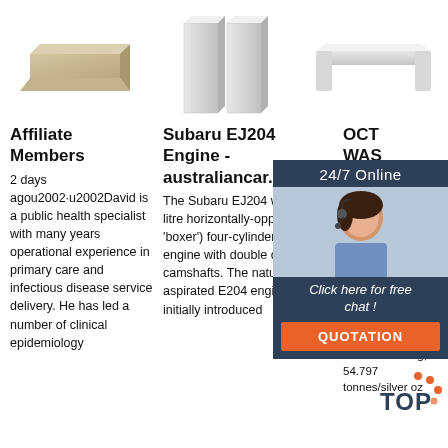[Figure (photo): Three product images in a row: a beige brick-like block, two tall white rectangular blocks, and a white tray-shaped piece]
Affiliate Members
2 days agou2002·u2002David is a public health specialist with many years operational experience in primary care and infectious disease service delivery. He has led a number of clinical epidemiology
Subaru EJ204 Engine - australiancar.reviews
The Subaru EJ204 was a 2.0-litre horizontally-opposed (or 'boxer') four-cylinder petrol engine with double overhead camshafts. The naturally aspirated E204 engine was initially introduced
OCT WAS TO $1784. UP 54
2021-120u2002/gold-20/gold $14.05 to $1784.25//silver up 54 cents to $24.35//gold comex standing; 54.797 tonnes/silver oz
[Figure (photo): Customer service agent woman with headset - 24/7 Online chat widget with QUOTATION button]
[Figure (logo): TOP logo with orange dots]